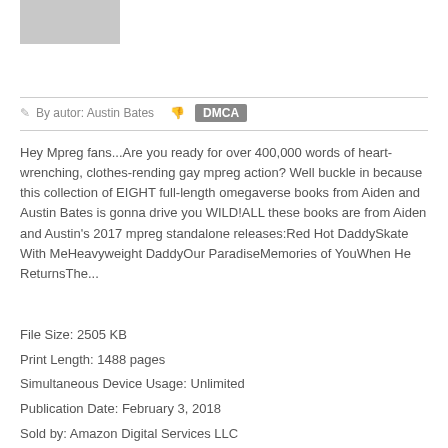[Figure (illustration): Gray placeholder image box]
By autor: Austin Bates  DMCA
Hey Mpreg fans...Are you ready for over 400,000 words of heart-wrenching, clothes-rending gay mpreg action? Well buckle in because this collection of EIGHT full-length omegaverse books from Aiden and Austin Bates is gonna drive you WILD!ALL these books are from Aiden and Austin's 2017 mpreg standalone releases:Red Hot DaddySkate With MeHeavyweight DaddyOur ParadiseMemories of YouWhen He ReturnsThe...
File Size: 2505 KB
Print Length: 1488 pages
Simultaneous Device Usage: Unlimited
Publication Date: February 3, 2018
Sold by: Amazon Digital Services LLC
Language: English
ASIN: B079KWKF15